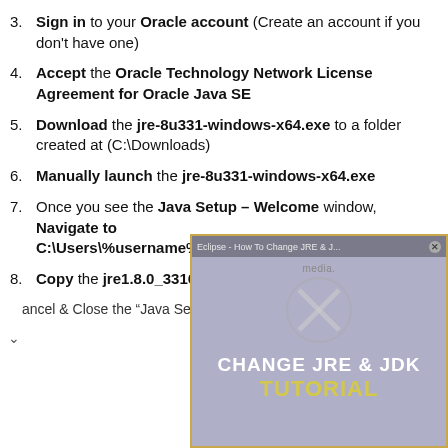3. Sign in to your Oracle account (Create an account if you don't have one)
4. Accept the Oracle Technology Network License Agreement for Oracle Java SE
5. Download the jre-8u331-windows-x64.exe to a folder created at (C:\Downloads)
6. Manually launch the jre-8u331-windows-x64.exe
7. Once you see the Java Setup – Welcome window, Navigate to C:\Users\%username%\AppData\local\ow\Oracle\Jav...
8. Copy the jre1.8.0_33164.msi to C:\Downloads
...ancel & Close the "Java Setup – Welcome"
[Figure (screenshot): A browser/video window overlay with title bar reading 'Eclipse - How To Change JRE & J...' and a close button X. The content shows a logo watermark and the text 'CHANGE JRE & JDK TUTORIAL' with the word TUTORIAL in yellow.]